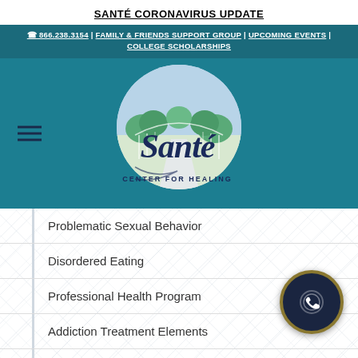SANTÉ CORONAVIRUS UPDATE
☎ 866.238.3154 | FAMILY & FRIENDS SUPPORT GROUP | UPCOMING EVENTS | COLLEGE SCHOLARSHIPS
[Figure (logo): Santé Center for Healing logo — circular illustration with green trees, blue sky, and a white bridge/path, with script text 'Santé' and 'CENTER FOR HEALING' below]
Problematic Sexual Behavior
Disordered Eating
Professional Health Program
Addiction Treatment Elements
Cognitive Behavioral Therapy...